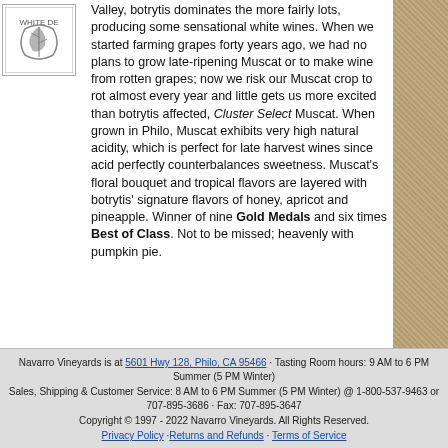[Figure (logo): Navarro Vineyards wine label logo showing a stylized leaf or vine design]
Valley, botrytis dominates the more fairly lots, producing some sensational white wines. When we started farming grapes forty years ago, we had no plans to grow late-ripening Muscat or to make wine from rotten grapes; now we risk our Muscat crop to rot almost every year and little gets us more excited than botrytis affected, Cluster Select Muscat. When grown in Philo, Muscat exhibits very high natural acidity, which is perfect for late harvest wines since acid perfectly counterbalances sweetness. Muscat's floral bouquet and tropical flavors are layered with botrytis' signature flavors of honey, apricot and pineapple. Winner of nine Gold Medals and six times Best of Class. Not to be missed; heavenly with pumpkin pie.
| Specifications |  |
| --- | --- |
| Harvested: | Oct. 17, 2011 |
| Bottled: | Feb. 15, 2012 |
| Alcohol: | 9.9% |
| Titratable acidity: | 11.4 g/L |
Navarro Vineyards is at 5601 Hwy 128, Philo, CA 95466 · Tasting Room hours: 9 AM to 6 PM Summer (5 PM Winter)
Sales, Shipping & Customer Service: 8 AM to 6 PM Summer (5 PM Winter) @ 1-800-537-9463 or 707-895-3686 · Fax: 707-895-3647
Copyright © 1997 - 2022 Navarro Vineyards. All Rights Reserved.
Privacy Policy · Returns and Refunds · Terms of Service